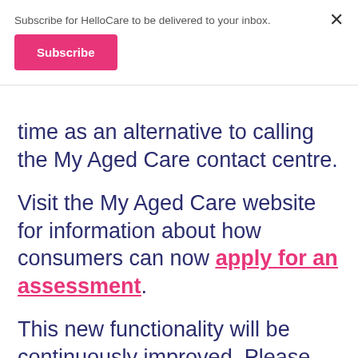Subscribe for HelloCare to be delivered to your inbox.
Subscribe
time as an alternative to calling the My Aged Care contact centre.
Visit the My Aged Care website for information about how consumers can now apply for an assessment.
This new functionality will be continuously improved. Please encourage consumers to provide feedback via the survey or Contact us page of the My Aged Care website.